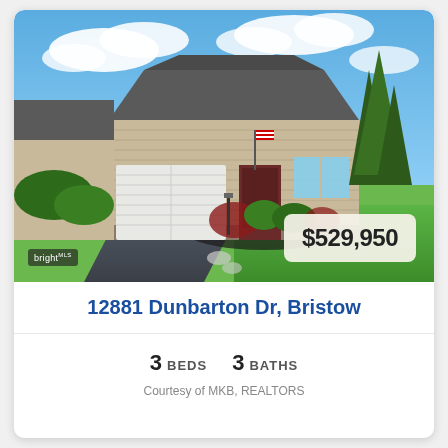[Figure (photo): Exterior photo of a single-story residential home with tan/beige siding, two-car garage, dark asphalt driveway, green landscaping with ornamental trees and shrubs, American flag by the front door, blue sky with white clouds. Price badge showing $529,950 in the lower right corner. Bright MLS logo in the lower left corner.]
12881 Dunbarton Dr, Bristow
3 BEDS    3 BATHS
Courtesy of MKB, REALTORS